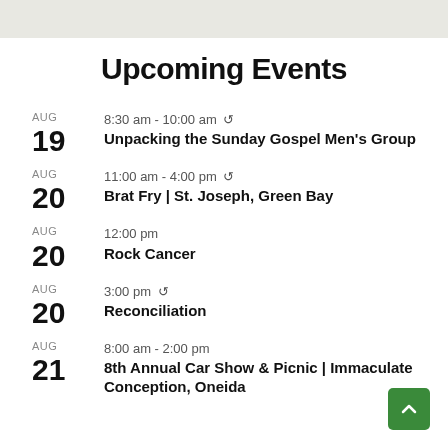Upcoming Events
AUG 19 | 8:30 am - 10:00 am (recurring) | Unpacking the Sunday Gospel Men's Group
AUG 20 | 11:00 am - 4:00 pm (recurring) | Brat Fry | St. Joseph, Green Bay
AUG 20 | 12:00 pm | Rock Cancer
AUG 20 | 3:00 pm (recurring) | Reconciliation
AUG 21 | 8:00 am - 2:00 pm | 8th Annual Car Show & Picnic | Immaculate Conception, Oneida